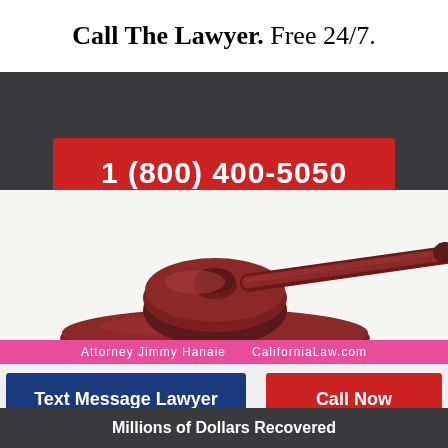Call The Lawyer. Free 24/7.
[Figure (other): Red button with white text showing phone number 1 (800) 400-5050 on dark gray background]
[Figure (photo): Close-up photo of a dark mahogany wooden judge's gavel resting on its sound block on a white surface]
Attorney Jimmy Hanaie    CaliforniaLaw.com
Text Message Lawyer
Call Now
Millions of Dollars Recovered